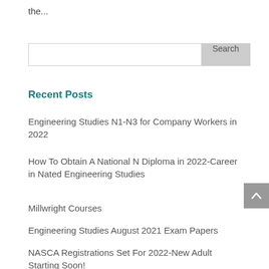the...
Search
Recent Posts
Engineering Studies N1-N3 for Company Workers in 2022
How To Obtain A National N Diploma in 2022-Career in Nated Engineering Studies
Millwright Courses
Engineering Studies August 2021 Exam Papers
NASCA Registrations Set For 2022-New Adult Starting Soon!